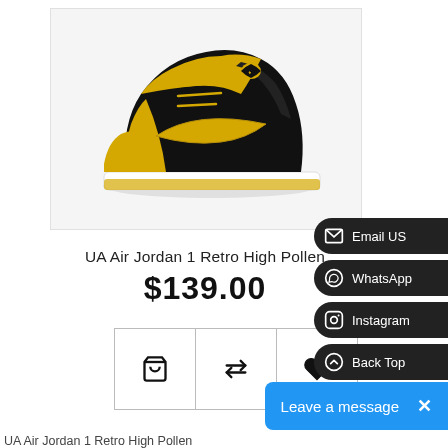[Figure (photo): Air Jordan 1 Retro High Pollen sneaker — yellow and black colorway, high-top, shown from the side on a light gray background]
UA Air Jordan 1 Retro High Pollen
$139.00
[Figure (infographic): Three action buttons: shopping cart, compare arrows, and heart/wishlist]
Email US
WhatsApp
Instagram
Back Top
Leave a message  ×
UA Air Jordan 1 Retro High Pollen